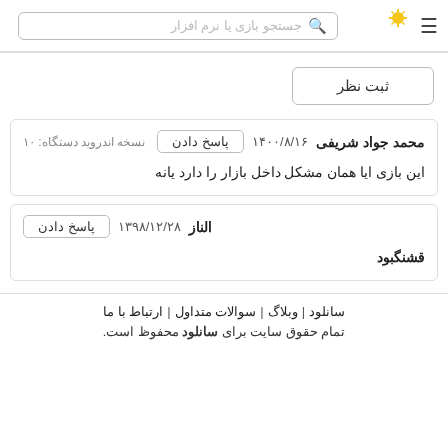سانلود | جستجو بازی یا نرم افزار
ثبت نظر
محمد جواد شریفی  ۱۴۰۰/۸/۱۶  پاسخ دادن  نسخه اندروید دستگاه: ۱۰
این بازی ایا همان مشکل داخل بازار را دارد یانه
الناز  ۱۳۹۸/۱۲/۲۸  پاسخ دادن
قشنگبود
سانلود | وبلاگ | سوالات متداول | ارتباط با ما
تمام حقوق سایت برای سانلود محفوظ است.